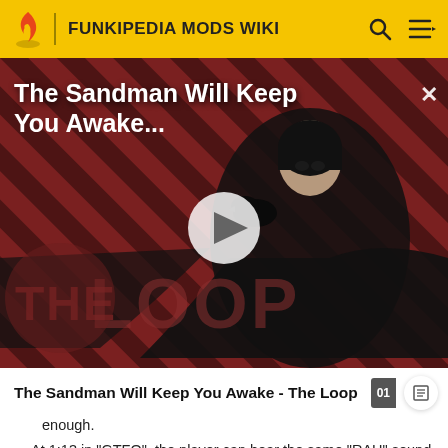FUNKIPEDIA MODS WIKI
[Figure (screenshot): Video thumbnail for 'The Sandman Will Keep You Awake...' showing a dark-cloaked figure with a crow against a red diagonal stripe background, with a play button overlay and 'THE LOOP' watermark.]
The Sandman Will Keep You Awake - The Loop
enough.
At 1:13 in "GTFO", the player can hear the same "RAH" sound effect used in Zardy's song, Foolhardy, when